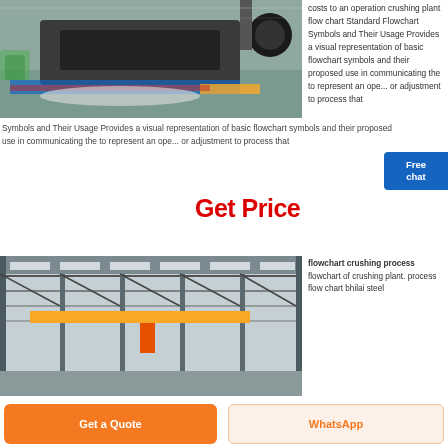[Figure (photo): Photo of industrial crushing plant machinery on factory floor with yellow and blue equipment]
costs to an operation crushing plant flow chart Standard Flowchart Symbols and Their Usage Provides a visual representation of basic flowchart symbols and their proposed use in communicating the to represent an open or adjustment to process that
Free chat
Get Price
[Figure (photo): Photo of large industrial warehouse or factory interior with steel structure and overhead crane]
flowchart crushing process
flowchart of crushing plant. process flow chart bhilai steel
Get a Quote
WhatsApp